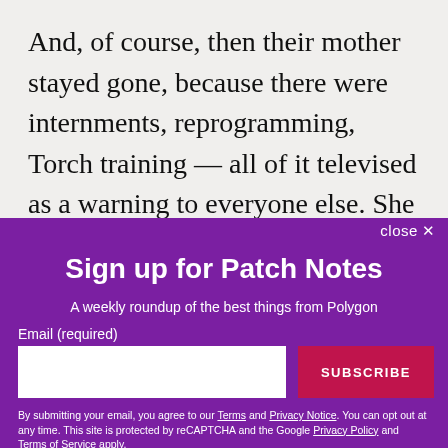And, of course, then their mother stayed gone, because there were internments, reprogramming, Torch training — all of it televised as a warning to everyone else. She was hardly recognizable, their mother, in the footage. Artificially bright and co-operative. Here she was, processing paperwork at a
close ✕
Sign up for Patch Notes
A weekly roundup of the best things from Polygon
Email (required)
SUBSCRIBE
By submitting your email, you agree to our Terms and Privacy Notice. You can opt out at any time. This site is protected by reCAPTCHA and the Google Privacy Policy and Terms of Service apply.